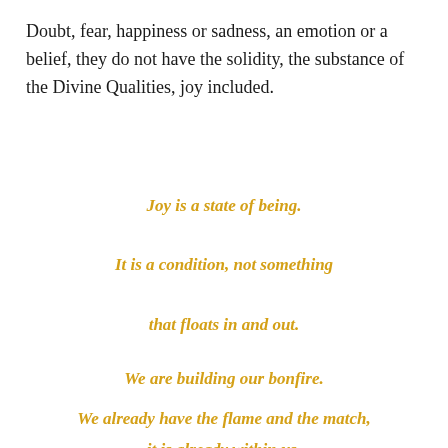Doubt, fear, happiness or sadness, an emotion or a belief, they do not have the solidity, the substance of the Divine Qualities, joy included.
Joy is a state of being.
It is a condition, not something
that floats in and out.
We are building our bonfire.
We already have the flame and the match,
it is already within us.